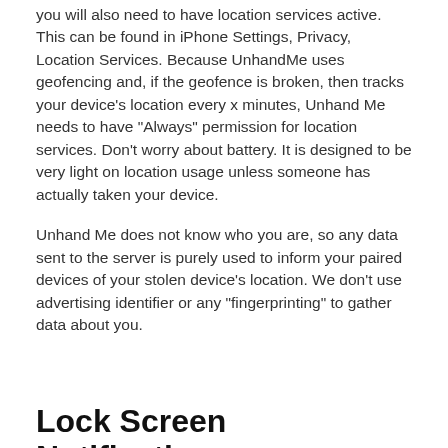you will also need to have location services active. This can be found in iPhone Settings, Privacy, Location Services. Because UnhandMe uses geofencing and, if the geofence is broken, then tracks your device's location every x minutes, Unhand Me needs to have "Always" permission for location services. Don't worry about battery. It is designed to be very light on location usage unless someone has actually taken your device.
Unhand Me does not know who you are, so any data sent to the server is purely used to inform your paired devices of your stolen device's location. We don't use advertising identifier or any "fingerprinting" to gather data about you.
Lock Screen Notifications
Depending on how you've set up your iPhone, you are able to also answer notifications from Unhand Me on your lock screen. This can be disabled just for Unhand Me by going into iPhone Settings, Notifications, select Unhand Me and turn off the "Show on Lock Screen" option. There is also a short cut to device settings setting in "Unhand Me Settings" see section below.